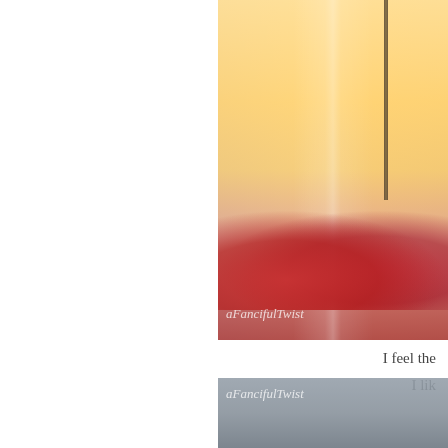[Figure (photo): A blurred close-up photo of a glass pitcher or jar containing a light golden beverage, with red fruits (possibly apples or cranberries) at the bottom. The image has warm yellow and amber tones. A watermark reads 'aFancifulTwist' in italic white text at the bottom left of the image.]
I feel the
I lik
[Figure (photo): A partially visible photo with gray-blue tones, showing the beginning of another image. A watermark reads 'aFancifulTwist' in italic white text.]